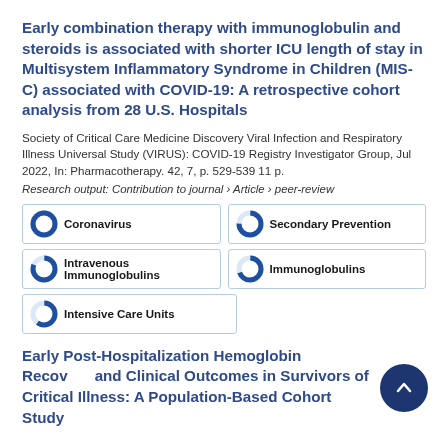Early combination therapy with immunoglobulin and steroids is associated with shorter ICU length of stay in Multisystem Inflammatory Syndrome in Children (MIS-C) associated with COVID-19: A retrospective cohort analysis from 28 U.S. Hospitals
Society of Critical Care Medicine Discovery Viral Infection and Respiratory Illness Universal Study (VIRUS): COVID-19 Registry Investigator Group, Jul 2022, In: Pharmacotherapy. 42, 7, p. 529-539 11 p.
Research output: Contribution to journal › Article › peer-review
[Figure (infographic): Five keyword/topic tags with donut-style percentage indicators: Coronavirus (100%), Secondary Prevention (~75%), Intravenous Immunoglobulins (~80%), Immunoglobulins (~70%), Intensive Care Units (~60%)]
Early Post-Hospitalization Hemoglobin Recovery and Clinical Outcomes in Survivors of Critical Illness: A Population-Based Cohort Study